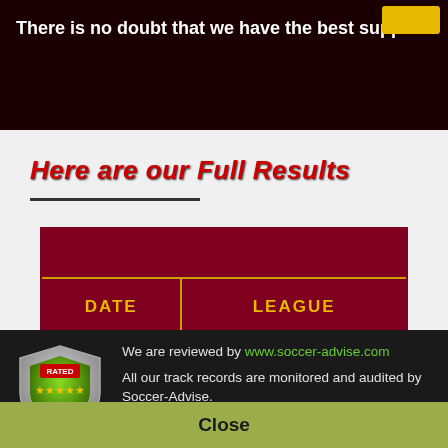There is no doubt that we have the best support!
Here are our Full Results
| DATE | LEAGUE |
| --- | --- |
We are reviewed by www.soccer-advise.com
All our track records are monitored and audited by Soccer-Advise.
Feel free to write an honest review on us to improve our reputation in the community.
Close